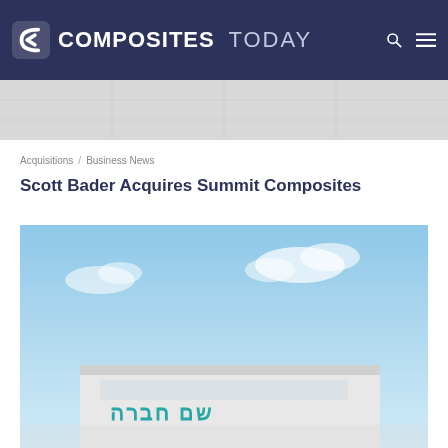COMPOSITES TODAY
[Figure (photo): Gray placeholder banner image beneath navigation header]
Acquisitions  Business News
Scott Bader Acquires Summit Composites
[Figure (photo): Photograph of a building exterior under a blue sky with some clouds; the building has text in Arabic/Hebrew script in teal color on its facade]